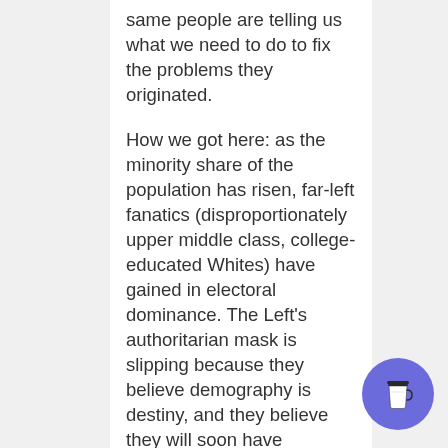same people are telling us what we need to do to fix the problems they originated.

How we got here: as the minority share of the population has risen, far-left fanatics (disproportionately upper middle class, college-educated Whites) have gained in electoral dominance. The Left's authoritarian mask is slipping because they believe demography is destiny, and they believe they will soon have absolute power as a result. They think there will come a time when they become
[Figure (illustration): A circular purple/blue button with a coffee cup icon (to-go cup with lid), positioned in the bottom right corner of the page.]